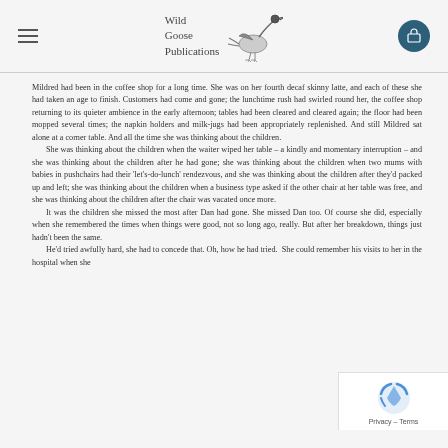Wild Goose Publications
Mildred had been in the coffee shop for a long time. She was on her fourth decaf skinny latte, and each of these she had taken an age to finish. Customers had come and gone; the lunchtime rush had swirled round her, the coffee shop returning to its quieter ambience in the early afternoon; tables had been cleared and cleared again; the floor had been mopped several times; the napkin holders and milk-jugs had been appropriately replenished. And still Mildred sat alone at a corner table. And all the time she was thinking about the children.
	She was thinking about the children when the waiter wiped her table – a kindly and momentary interruption – and she was thinking about the children after he had gone; she was thinking about the children when two mums with babies in pushchairs had their 'let's-do-lunch' rendezvous, and she was thinking about the children after they'd packed up and left; she was thinking about the children when a business type asked if the other chair at her table was free, and she was thinking about the children after the chair was vacated once more.
	It was the children she missed the most after Dan had gone. She missed Dan too. Of course she did, especially when she remembered the times when things were good, not so long ago, really. But after her breakdown, things just hadn't been the same.
	He'd tried awfully hard, she had to concede that. Oh, how he had tried. She could remember his visits to her in the hospital when she...